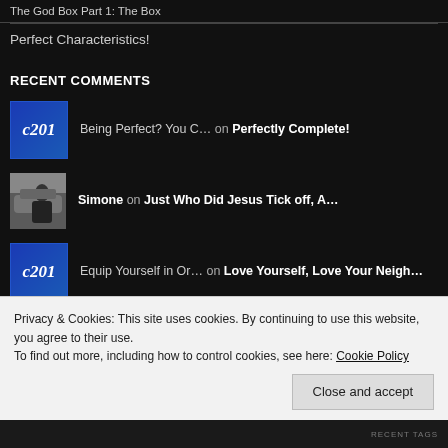The God Box Part 1: The Box
Perfect Characteristics!
RECENT COMMENTS
Being Perfect? You C... on Perfectly Complete!
Simone on Just Who Did Jesus Tick off, A...
Equip Yourself in Or... on Love Yourself, Love Your Neigh...
Privacy & Cookies: This site uses cookies. By continuing to use this website, you agree to their use. To find out more, including how to control cookies, see here: Cookie Policy
Close and accept